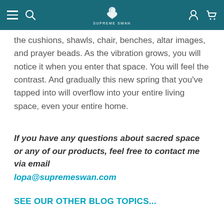Supreme Swan navigation bar with hamburger menu, search icon, swan logo, user icon, and cart icon
the cushions, shawls, chair, benches, altar images, and prayer beads. As the vibration grows, you will notice it when you enter that space. You will feel the contrast. And gradually this new spring that you’ve tapped into will overflow into your entire living space, even your entire home.
If you have any questions about sacred space or any of our products, feel free to contact me via email lopa@supremeswan.com
SEE OUR OTHER BLOG TOPICS...